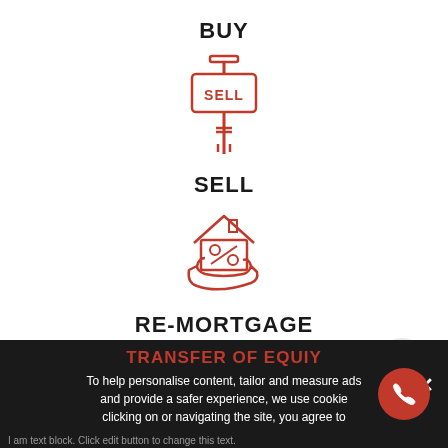BUY
[Figure (illustration): Red line-art icon of a 'SELL' sign on a post]
SELL
[Figure (illustration): Red line-art icon of a house with a percentage sign held in a hand]
RE-MORTGAGE
[Figure (illustration): Red line-art icon of money, bar chart with upward arrow, representing re-mortgage]
TRANSFER OF EQUIY
To help personalise content, tailor and measure ads and provide a safer experience, we use cookie clicking on or navigating the site, you agree to
I am text block. Click edit button to change this text.